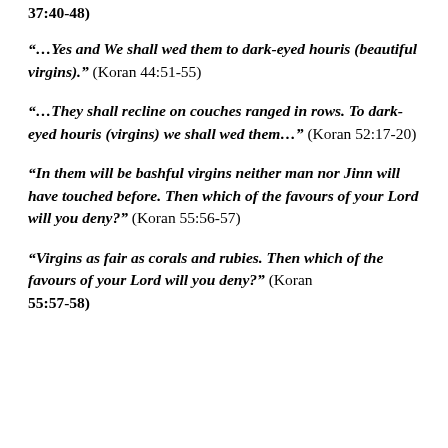37:40-48)
“…Yes and We shall wed them to dark-eyed houris (beautiful virgins).” (Koran 44:51-55)
“…They shall recline on couches ranged in rows. To dark-eyed houris (virgins) we shall wed them…” (Koran 52:17-20)
“In them will be bashful virgins neither man nor Jinn will have touched before. Then which of the favours of your Lord will you deny?” (Koran 55:56-57)
“Virgins as fair as corals and rubies. Then which of the favours of your Lord will you deny?” (Koran 55:57-58)